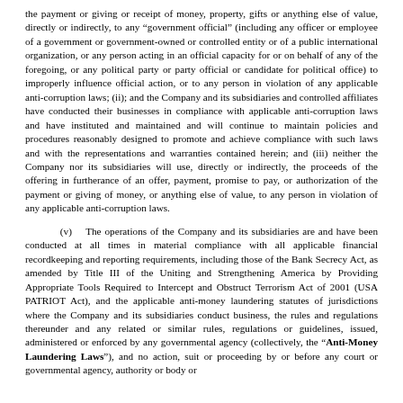the payment or giving or receipt of money, property, gifts or anything else of value, directly or indirectly, to any “government official” (including any officer or employee of a government or government-owned or controlled entity or of a public international organization, or any person acting in an official capacity for or on behalf of any of the foregoing, or any political party or party official or candidate for political office) to improperly influence official action, or to any person in violation of any applicable anti-corruption laws; (ii); and the Company and its subsidiaries and controlled affiliates have conducted their businesses in compliance with applicable anti-corruption laws and have instituted and maintained and will continue to maintain policies and procedures reasonably designed to promote and achieve compliance with such laws and with the representations and warranties contained herein; and (iii) neither the Company nor its subsidiaries will use, directly or indirectly, the proceeds of the offering in furtherance of an offer, payment, promise to pay, or authorization of the payment or giving of money, or anything else of value, to any person in violation of any applicable anti-corruption laws.
(v)    The operations of the Company and its subsidiaries are and have been conducted at all times in material compliance with all applicable financial recordkeeping and reporting requirements, including those of the Bank Secrecy Act, as amended by Title III of the Uniting and Strengthening America by Providing Appropriate Tools Required to Intercept and Obstruct Terrorism Act of 2001 (USA PATRIOT Act), and the applicable anti-money laundering statutes of jurisdictions where the Company and its subsidiaries conduct business, the rules and regulations thereunder and any related or similar rules, regulations or guidelines, issued, administered or enforced by any governmental agency (collectively, the “Anti-Money Laundering Laws”), and no action, suit or proceeding by or before any court or governmental agency, authority or body or